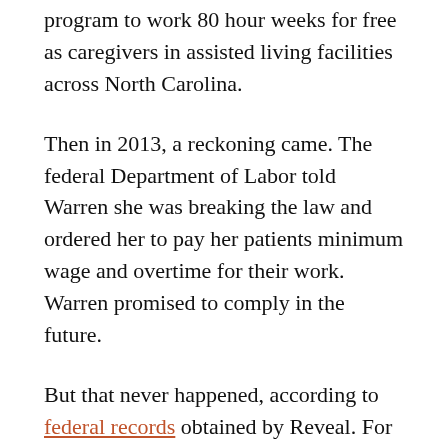program to work 80 hour weeks for free as caregivers in assisted living facilities across North Carolina.
Then in 2013, a reckoning came. The federal Department of Labor told Warren she was breaking the law and ordered her to pay her patients minimum wage and overtime for their work. Warren promised to comply in the future.
But that never happened, according to federal records obtained by Reveal. For at least five more years, Warren ignored labor laws and forced her patients to work for free to fund her lavish lifestyle. The records show no indication that the